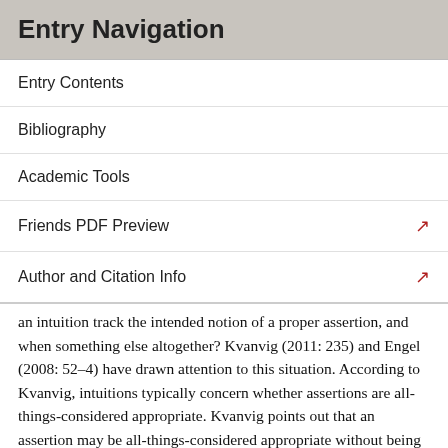Entry Navigation
Entry Contents
Bibliography
Academic Tools
Friends PDF Preview
Author and Citation Info
an intuition track the intended notion of a proper assertion, and when something else altogether? Kvanvig (2011: 235) and Engel (2008: 52–4) have drawn attention to this situation. According to Kvanvig, intuitions typically concern whether assertions are all-things-considered appropriate. Kvanvig points out that an assertion may be all-things-considered appropriate without being appropriate from the epistemic point of view. However, although this is an important distinction, the question is how intuition does support the idea that the epistemic point of view is what is relevant.